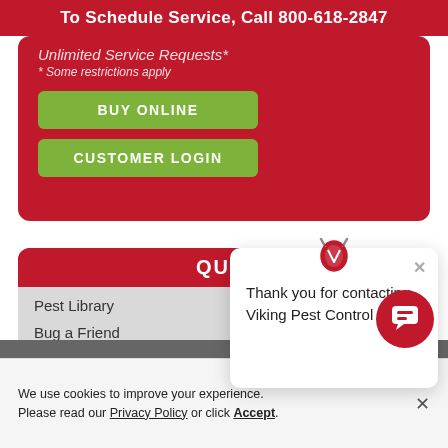To Schedule Service, Call 800-618-2847
Unlimited Service Requests*
* Some restrictions apply
BUY ONLINE
CUSTOMER LOGIN
QU...
Pest Library
Bug a Friend
Home Protection Plans
[Figure (other): Viking Pest Control chat widget icon (shield with horns logo)]
Thank you for contacting Viking Pest Control
[Figure (other): Red circular chat bubble button icon]
We use cookies to improve your experience. Please read our Privacy Policy or click Accept.